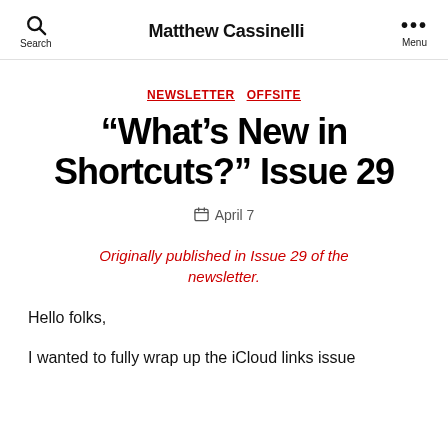Search  Matthew Cassinelli  Menu
NEWSLETTER  OFFSITE
“What’s New in Shortcuts?” Issue 29
April 7
Originally published in Issue 29 of the newsletter.
Hello folks,
I wanted to fully wrap up the iCloud links issue